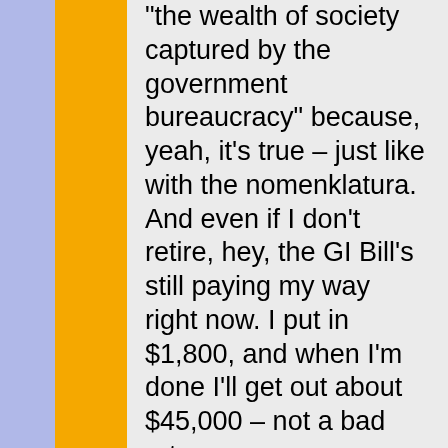“the wealth of society captured by the government bureaucracy” because, yeah, it’s true – just like with the nomenklatura. And even if I don’t retire, hey, the GI Bill’s still paying my way right now. I put in $1,800, and when I’m done I’ll get out about $45,000 – not a bad return on my investment!